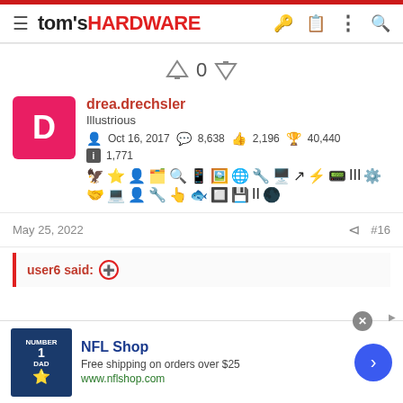tom's HARDWARE
0
drea.drechsler
Illustrious
Oct 16, 2017  8,638  2,196  40,440
1,771
May 25, 2022  #16
user6 said:
[Figure (screenshot): NFL Shop advertisement banner with jersey image, NFL Shop title, 'Free shipping on orders over $25', www.nflshop.com URL, and a blue arrow button]